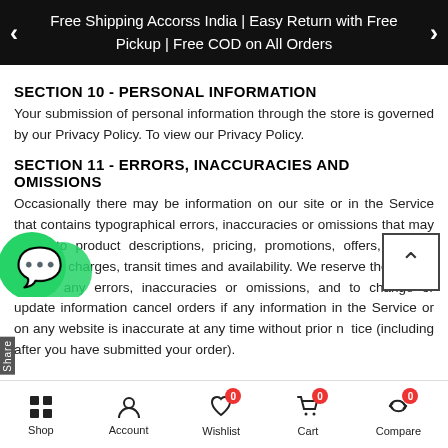Free Shipping Accorss India | Easy Return with Free Pickup | Free COD on All Orders
SECTION 10 - PERSONAL INFORMATION
Your submission of personal information through the store is governed by our Privacy Policy. To view our Privacy Policy.
SECTION 11 - ERRORS, INACCURACIES AND OMISSIONS
Occasionally there may be information on our site or in the Service that contains typographical errors, inaccuracies or omissions that may relate to product descriptions, pricing, promotions, offers, product shipping charges, transit times and availability. We reserve the right to correct any errors, inaccuracies or omissions, and to change or update information cancel orders if any information in the Service or on any website is inaccurate at any time without prior notice (including after you have submitted your order).
Shop | Account | Wishlist 0 | Cart 0 | Compare 0